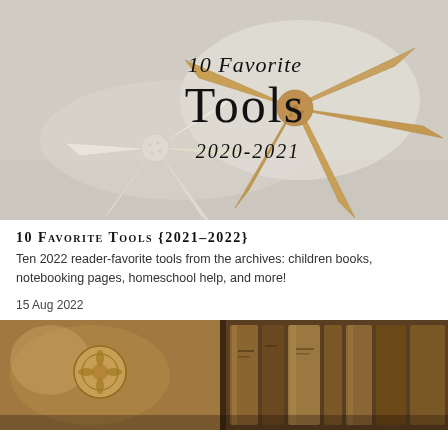[Figure (photo): Photo of starfish on a sandy/light surface with overlaid cursive and serif text reading '10 Favorite Tools 2020-2021']
10 Favorite Tools {2021–2022}
Ten 2022 reader-favorite tools from the archives: children books, notebooking pages, homeschool help, and more!
15 Aug 2022
[Figure (photo): Close-up photo of old books on a shelf, warm amber/brown tones]